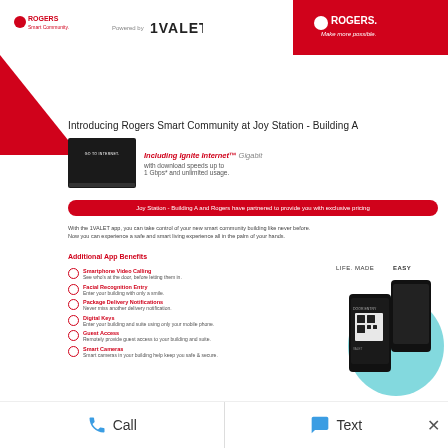[Figure (logo): Rogers Smart Community logo with 1VALET powered by text, top left of banner area]
[Figure (logo): Rogers Make more possible logo on red background, top right]
[Figure (illustration): Red triangle decorative element on left side]
Introducing Rogers Smart Community at Joy Station - Building A
[Figure (photo): Laptop showing GO TO INTERNET screen with Ignite Internet Gigabit promotional text]
Including Ignite Internet™ Gigabit with download speeds up to 1 Gbps* and unlimited usage.
Joy Station - Building A and Rogers have partnered to provide you with exclusive pricing
With the 1VALET app, you can take control of your new smart community building like never before. Now you can experience a safe and smart living experience all in the palm of your hands.
Additional App Benefits
Smartphone Video Calling - See who's at the door, before letting them in.
Facial Recognition Entry - Enter your building with only a smile.
Package Delivery Notifications - Never miss another delivery notification.
Digital Keys - Enter your building and suite using only your mobile phone.
Guest Access - Remotely provide guest access to your building and suite.
Smart Cameras - Smart cameras in your building help keep you safe & secure.
[Figure (photo): LIFE. MADE EASY - smartphone app promotional photo showing two phones with 1VALET app interface]
Call
Text